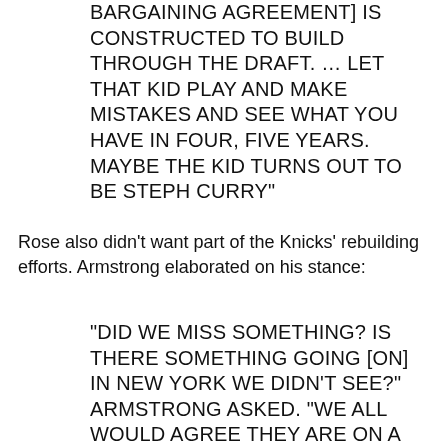BARGAINING AGREEMENT] IS CONSTRUCTED TO BUILD THROUGH THE DRAFT. … LET THAT KID PLAY AND MAKE MISTAKES AND SEE WHAT YOU HAVE IN FOUR, FIVE YEARS. MAYBE THE KID TURNS OUT TO BE STEPH CURRY”
Rose also didn’t want part of the Knicks’ rebuilding efforts. Armstrong elaborated on his stance:
“DID WE MISS SOMETHING? IS THERE SOMETHING GOING [ON] IN NEW YORK WE DIDN’T SEE?” ARMSTRONG ASKED. “WE ALL WOULD AGREE THEY ARE ON A DIFFERENT TIMELINE THAN DERRICK